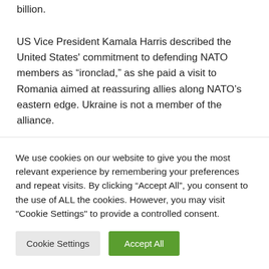billion.
US Vice President Kamala Harris described the United States' commitment to defending NATO members as “ironclad,” as she paid a visit to Romania aimed at reassuring allies along NATO’s eastern edge. Ukraine is not a member of the alliance.
Russian convoy moves
We use cookies on our website to give you the most relevant experience by remembering your preferences and repeat visits. By clicking “Accept All”, you consent to the use of ALL the cookies. However, you may visit "Cookie Settings" to provide a controlled consent.